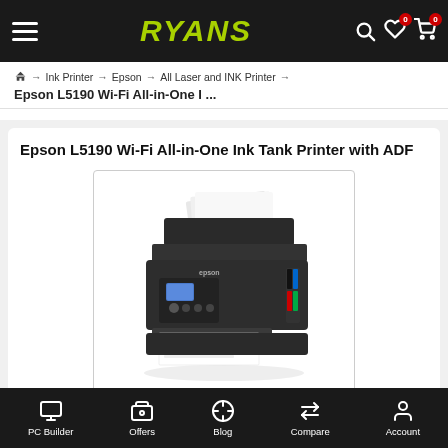RYANS
🏠 → Ink Printer → Epson → All Laser and INK Printer →
Epson L5190 Wi-Fi All-in-One I ...
Epson L5190 Wi-Fi All-in-One Ink Tank Printer with ADF
[Figure (photo): Epson L5190 Wi-Fi All-in-One Ink Tank Printer with ADF product photo showing a black multifunction inkjet printer with ADF on top and printed pages coming out of the front]
PC Builder   Offers   Blog   Compare   Account